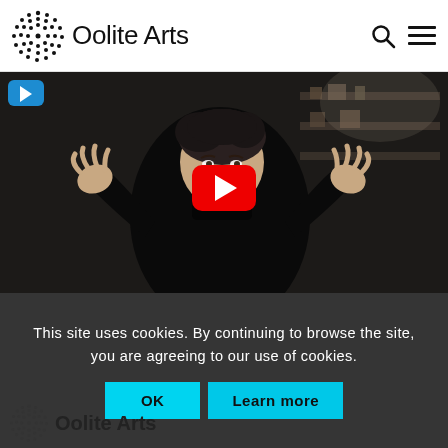Oolite Arts
[Figure (screenshot): YouTube video thumbnail showing a person in a black turtleneck with hands raised, in a studio/workshop setting. A large red YouTube play button is overlaid in the center. A small teal YouTube icon is visible in the upper-left corner of the video frame.]
This site uses cookies. By continuing to browse the site, you are agreeing to our use of cookies.
OK   Learn more
Oolite Arts